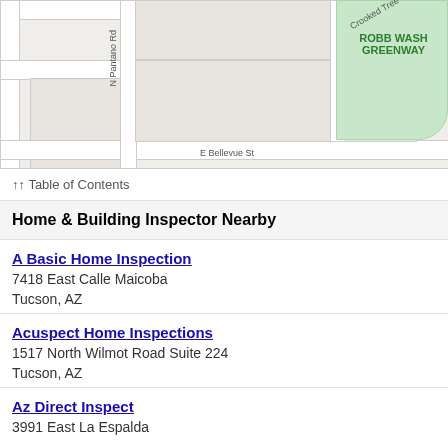[Figure (map): Street map showing N Pantano Rd, Crooked Tree Trail, E Bellevue St, and Robb Wash Greenway in Tucson, AZ]
↑↑ Table of Contents
Home & Building Inspector Nearby
A Basic Home Inspection
7418 East Calle Maicoba
Tucson, AZ
Acuspect Home Inspections
1517 North Wilmot Road Suite 224
Tucson, AZ
Az Direct Inspect
3991 East La Espalda